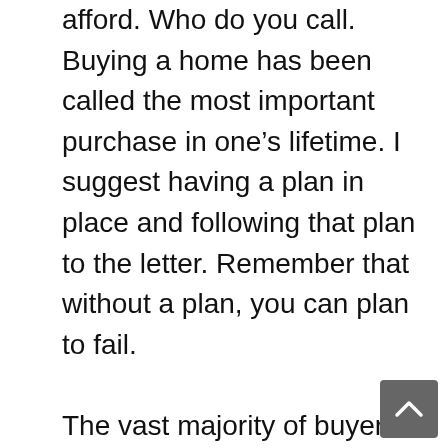afford. Who do you call. Buying a home has been called the most important purchase in one's lifetime. I suggest having a plan in place and following that plan to the letter. Remember that without a plan, you can plan to fail.

The vast majority of buyers start on-line, where you are right now, but not only that buyers want to take the next emotional step of seeing the inside of the homes. You are compelled to visit open houses, new construction sites, calling that random agent who just listed a home in your favorite subdivision. The question that most buyers do not think to ask